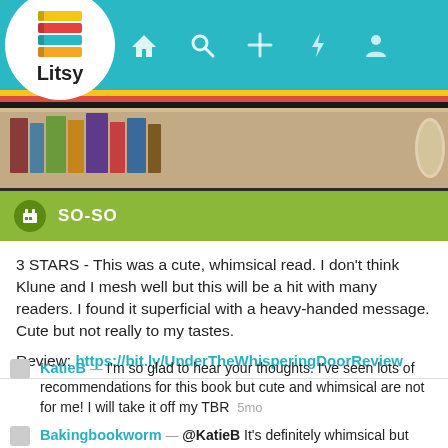[Figure (screenshot): Litsy app top navigation bar with logo and icons for home, search, add, notifications, and profile on teal background]
[Figure (photo): Book shelf image with books visible]
SO-SO
3 STARS - This was a cute, whimsical read. I don't think Klune and I mesh well but this will be a hit with many readers. I found it superficial with a heavy-handed message. Cute but not really to my tastes.

Review: https://bit.ly/UnderTheWhisperingDoorReview
KatiеB — I'm so glad to hear your thoughts. I've seen lots of recommendations for this book but cute and whimsical are not for me! I will take it off my TBR  5mo
Bakingbookworm — @KatieB It's definitely whimsical but handles topics of death and loss but still with a very light hand. His writing style just isn't for me.  5mo